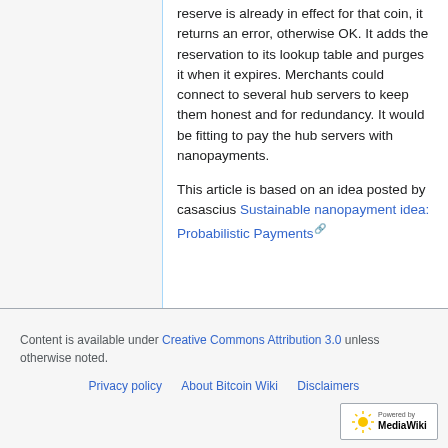reserve is already in effect for that coin, it returns an error, otherwise OK. It adds the reservation to its lookup table and purges it when it expires. Merchants could connect to several hub servers to keep them honest and for redundancy. It would be fitting to pay the hub servers with nanopayments.
This article is based on an idea posted by casascius Sustainable nanopayment idea: Probabilistic Payments
Content is available under Creative Commons Attribution 3.0 unless otherwise noted.
Privacy policy | About Bitcoin Wiki | Disclaimers